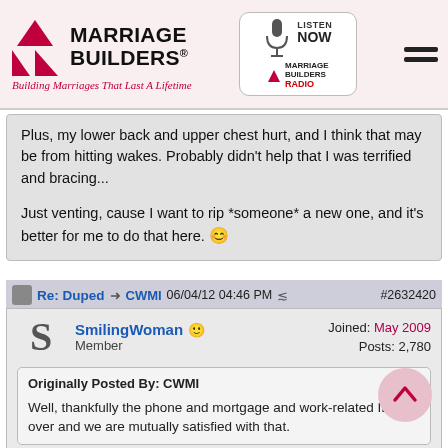[Figure (logo): Marriage Builders logo with red arrow triangles and tagline 'Building Marriages That Last A Lifetime']
[Figure (logo): Listen Now Marriage Builders Radio logo box]
Plus, my lower back and upper chest hurt, and I think that may be from hitting wakes. Probably didn't help that I was terrified and bracing...

Just venting, cause I want to rip *someone* a new one, and it's better for me to do that here. 😊
Re: Duped  → CWMI  06/04/12 04:46 PM  #2632420
SmilingWoman
Member
Joined: May 2009
Posts: 2,780
Originally Posted By: CWMI
Well, thankfully the phone and mortgage and work-related IB is over and we are mutually satisfied with that.